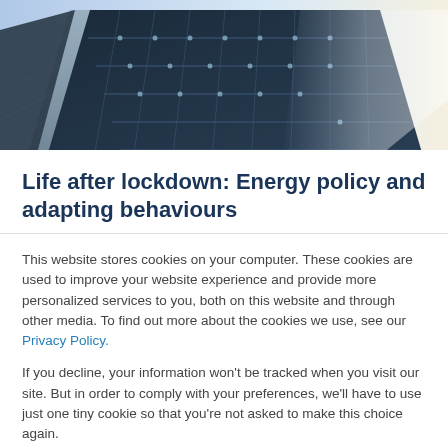[Figure (photo): Photograph of solar panels arranged in rows on a rooftop or installation, viewed from an angle, with sunlight reflecting off the panel surfaces. Dark blue background flanks both sides.]
Life after lockdown: Energy policy and adapting behaviours
This website stores cookies on your computer. These cookies are used to improve your website experience and provide more personalized services to you, both on this website and through other media. To find out more about the cookies we use, see our Privacy Policy.
If you decline, your information won't be tracked when you visit our site. But in order to comply with your preferences, we'll have to use just one tiny cookie so that you're not asked to make this choice again.